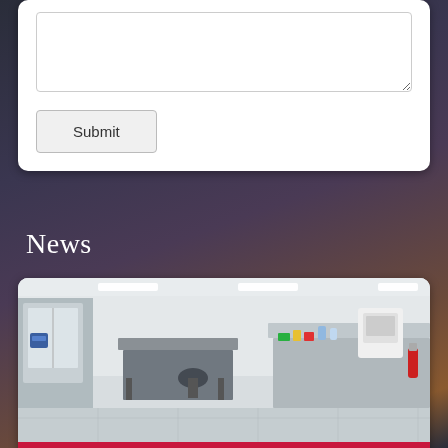[Figure (screenshot): A white form card with a textarea input and a Submit button, shown at the top of the page.]
News
[Figure (photo): News card showing a laboratory interior photo with workbenches and equipment, a red date bar reading 'WEDNESDAY, 24TH AUGUST', a dark blue title bar reading 'Stressing the Importance of Fuel Analysis', and a partial snippet text starting with 'The Lab, the independent laboratory...']